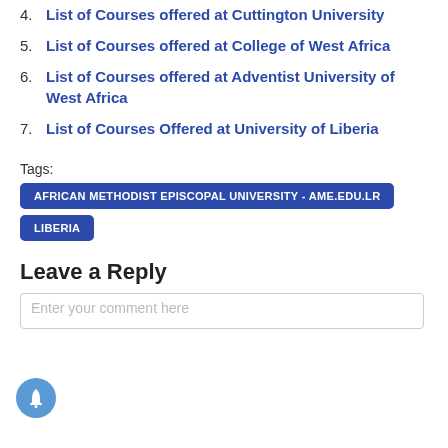4. List of Courses offered at Cuttington University
5. List of Courses offered at College of West Africa
6. List of Courses offered at Adventist University of West Africa
7. List of Courses Offered at University of Liberia
Tags: AFRICAN METHODIST EPISCOPAL UNIVERSITY - AME.EDU.LR   LIBERIA
Leave a Reply
Enter your comment here